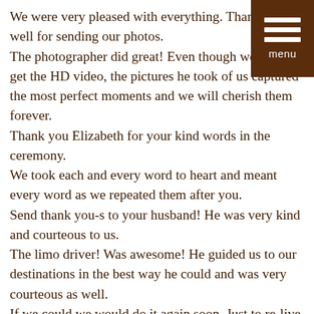[Figure (other): Dark brown menu button with three white horizontal lines and the word 'menu' below them, positioned in the top-right corner]
We were very pleased with everything. Thank you as well for sending our photos.
The photographer did great! Even though we did not get the HD video, the pictures he took of us captured the most perfect moments and we will cherish them forever.
Thank you Elizabeth for your kind words in the ceremony.
We took each and every word to heart and meant every word as we repeated them after you.
Send thank you-s to your husband! He was very kind and courteous to us.
The limo driver! Was awesome! He guided us to our destinations in the best way he could and was very courteous as well.
If we could we would do it again soon. Just to re-live that special day. When we decide to renew our vows, we will definintely call you up and see if you will be